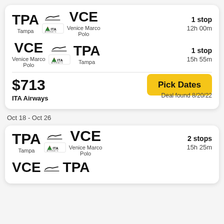TPA → VCE, Tampa to Venice Marco Polo, 1 stop, 12h 00m
VCE → TPA, Venice Marco Polo to Tampa, 1 stop, 15h 55m
$713
ITA Airways
Pick Dates
Deal found 8/20/22
Oct 18 - Oct 26
TPA → VCE, Tampa to Venice Marco Polo, 2 stops, 15h 25m
VCE → TPA (partial visible)